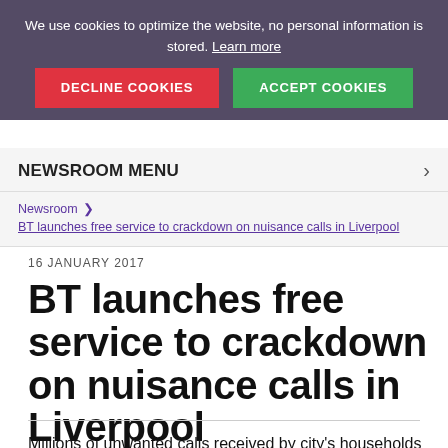We use cookies to optimize the website, no personal information is stored. Learn more
DECLINE COOKIES
ACCEPT COOKIES
NEWSROOM MENU
Newsroom  >  BT launches free service to crackdown on nuisance calls in Liverpool
16 JANUARY 2017
BT launches free service to crackdown on nuisance calls in Liverpool
Millions of unwanted calls received by city's households